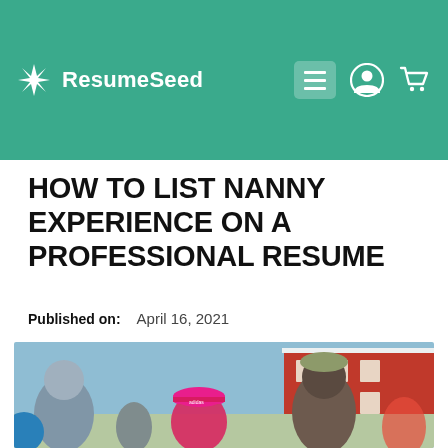ResumeSeed
HOW TO LIST NANNY EXPERIENCE ON A PROFESSIONAL RESUME
Published on:   April 16, 2021
[Figure (photo): Outdoor crowd scene with people wearing hats and colorful clothes, red building in background]